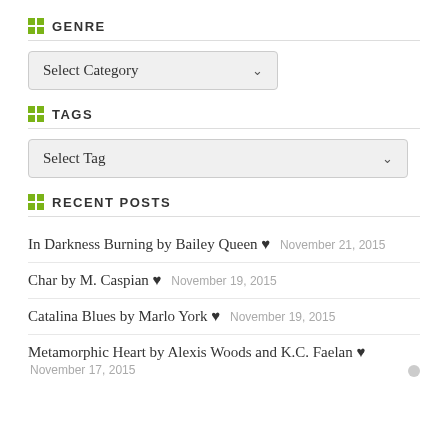GENRE
[Figure (screenshot): Select Category dropdown box]
TAGS
[Figure (screenshot): Select Tag dropdown box]
RECENT POSTS
In Darkness Burning by Bailey Queen ♥   November 21, 2015
Char by M. Caspian ♥   November 19, 2015
Catalina Blues by Marlo York ♥   November 19, 2015
Metamorphic Heart by Alexis Woods and K.C. Faelan ♥   November 17, 2015